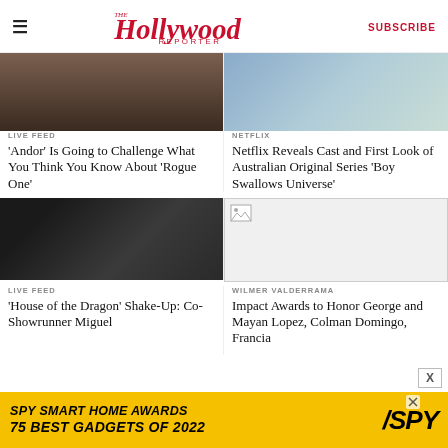The Hollywood Reporter | SUBSCRIBE
[Figure (photo): Top-left article image: man in dark jacket]
[Figure (photo): Top-right article image: people outdoors]
LIVE FEED
Diego Luna Says 'Andor' Is Going to Challenge What You Think You Know About 'Rogue One'
NETFLIX
Netflix Reveals Cast and First Look of Australian Original Series 'Boy Swallows Universe'
[Figure (photo): Bottom-left article image: two people in dark setting]
[Figure (photo): Bottom-right article image: broken/missing image placeholder]
LIVE FEED
'House of the Dragon' Shake-Up: Co-Showrunner Miguel
WILMER VALDERRAMA
Impact Awards to Honor George and Mayan Lopez, Colman Domingo, Francia
[Figure (infographic): Ad banner: SPY SMART HOME AWARDS 75 BEST GADGETS OF 2022 with SPY logo on yellow background]